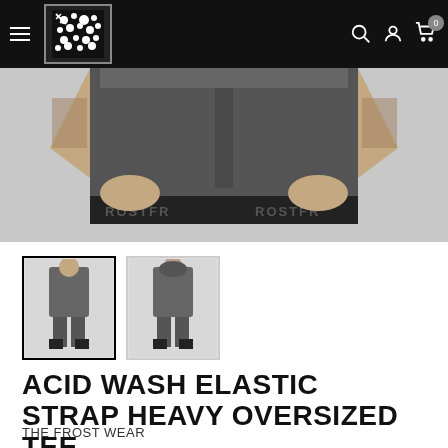[Figure (screenshot): E-commerce navigation bar with hamburger menu, brand logo (black and white floral/snowflake pattern), search icon, account icon, and cart icon with badge showing 0]
[Figure (photo): Product photo showing a person wearing an acid wash oversized tee and matching shorts with ROSTFR elastic band at the bottom, viewed from waist down, person has tattoos on arms]
[Figure (photo): Thumbnail 1: Front view of person wearing acid wash oversized tee set]
[Figure (photo): Thumbnail 2: Back view of person wearing acid wash oversized tee set]
ACID WASH ELASTIC STRAP HEAVY OVERSIZED TEE
THE FROST WEAR